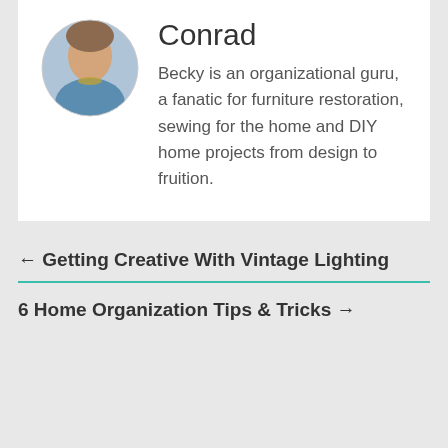[Figure (photo): Circular profile photo of a woman wearing a blue top and necklace]
Conrad
Becky is an organizational guru, a fanatic for furniture restoration, sewing for the home and DIY home projects from design to fruition.
← Getting Creative With Vintage Lighting
6 Home Organization Tips & Tricks →